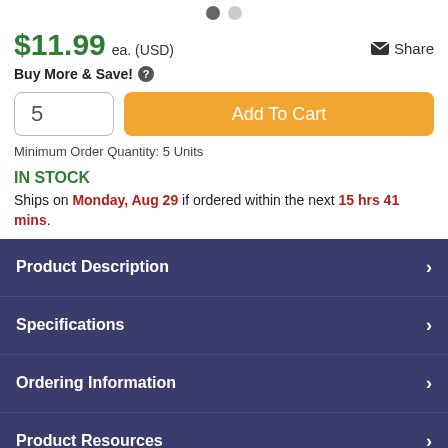[Figure (other): Two navigation dots, one dark and one light, indicating image carousel position]
$11.99 ea. (USD)
Share
Buy More & Save! ?
5
Add To Cart
Minimum Order Quantity: 5 Units
IN STOCK
Ships on Monday, Aug 29 if ordered within the next 15 hrs 41 mins.
Product Description
Specifications
Ordering Information
Product Resources
Customer Reviews